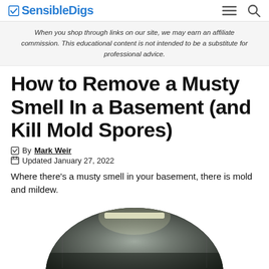SensibleDigs
When you shop through links on our site, we may earn an affiliate commission. This educational content is not intended to be a substitute for professional advice.
How to Remove a Musty Smell In a Basement (and Kill Mold Spores)
By Mark Weir
Updated January 27, 2022
Where there’s a musty smell in your basement, there is mold and mildew.
[Figure (photo): Circular cropped photo of a basement interior with dim lighting and a fluorescent light visible]